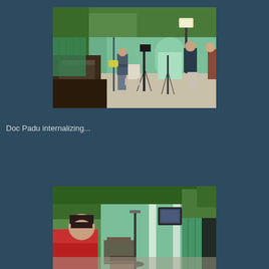[Figure (photo): Outdoor patio/veranda of a house with green walls. A film crew is setting up: one man holds a large LED light panel on a stand, another man operates a camera on a tripod, a third person stands in the background. Dark wooden furniture visible in the foreground left.]
Doc Padu internalizing...
[Figure (photo): Same outdoor patio/veranda location. A man in a red shirt sits or stands in the lower left, looking down. Another person is partially visible. Film lighting equipment and green garden setting visible in the background.]